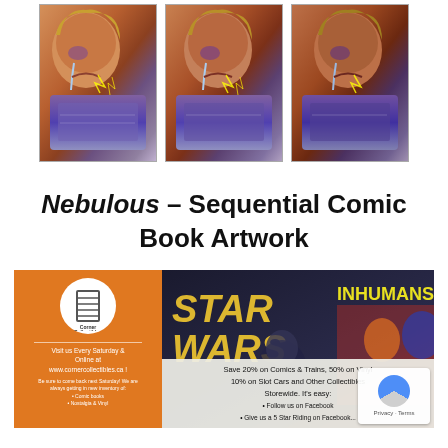[Figure (illustration): Three sequential comic book panels showing a woman crying, with a purple object in foreground. Each panel is slightly different, showing sequential art progression.]
Nebulous – Sequential Comic Book Artwork
[Figure (illustration): Advertisement banner for Corner Collectibles. Left orange panel shows Corner Collectibles logo and 'Visit us Every Saturday & Online at www.cornercollectibles.ca'. Right panel shows Star Wars and Inhumans comic book covers with text: 'Save 20% on Comics & Trains, 50% on Vinyl 10% on Slot Cars and Other Collectibles Storewide. It's easy:' followed by bullet points about Facebook.]